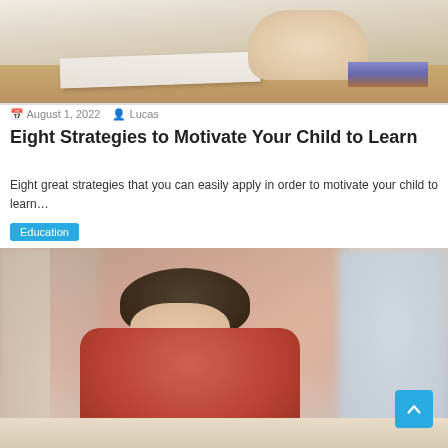[Figure (photo): Photo showing teacher or person's hands writing on papers at a desk with books, cropped view from above]
August 1, 2022   Lucas
Eight Strategies to Motivate Your Child to Learn
Eight great strategies that you can easily apply in order to motivate your child to learn…
Education
[Figure (photo): Photo of a boy in a red shirt writing at a desk in a classroom, with blurred students in the background]